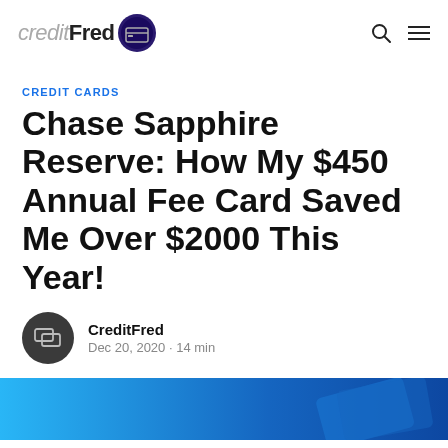creditFred
CREDIT CARDS
Chase Sapphire Reserve: How My $450 Annual Fee Card Saved Me Over $2000 This Year!
CreditFred
Dec 20, 2020 · 14 min
[Figure (photo): Partial hero image showing blue background with a credit card, bottom portion of article header image]